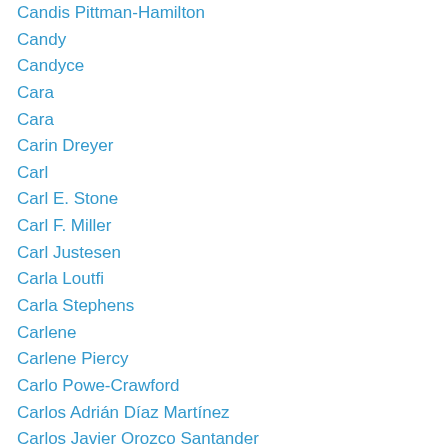Candis Pittman-Hamilton
Candy
Candyce
Cara
Cara
Carin Dreyer
Carl
Carl E. Stone
Carl F. Miller
Carl Justesen
Carla Loutfi
Carla Stephens
Carlene
Carlene Piercy
Carlo Powe-Crawford
Carlos Adrián Díaz Martínez
Carlos Javier Orozco Santander
Carmen
Carmen Niesen
Carol